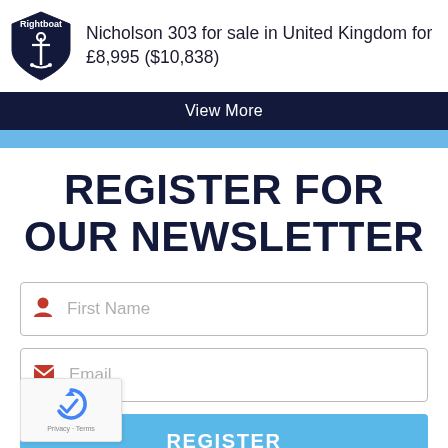[Figure (logo): Rightboat shield logo with anchor icon]
Nicholson 303 for sale in United Kingdom for £8,995 ($10,838)
View More
REGISTER FOR OUR NEWSLETTER
First Name
Email
REGISTER
[Figure (other): reCAPTCHA widget with checkbox and Privacy · Terms text]